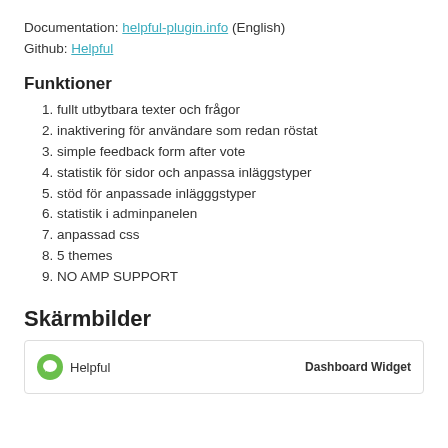Documentation: helpful-plugin.info (English)
Github: Helpful
Funktioner
1. fullt utbytbara texter och frågor
2. inaktivering för användare som redan röstat
3. simple feedback form after vote
4. statistik för sidor och anpassa inläggstyper
5. stöd för anpassade inlägggstyper
6. statistik i adminpanelen
7. anpassad css
8. 5 themes
9. NO AMP SUPPORT
Skärmbilder
[Figure (screenshot): Dashboard Widget screenshot showing Helpful logo and 'Dashboard Widget' label]